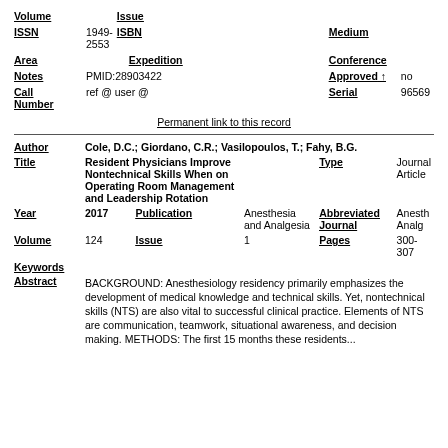| Volume |  | Issue |  |  |  |
| ISSN | 1949-2553 | ISBN |  | Medium |  |
| Area |  | Expedition |  | Conference |  |
| Notes | PMID:28903422 |  |  | Approved ↑ | no |
| Call Number | ref @ user @ |  |  | Serial | 96569 |
Permanent link to this record
| Author | Cole, D.C.; Giordano, C.R.; Vasilopoulos, T.; Fahy, B.G. |
| Title | Resident Physicians Improve Nontechnical Skills When on Operating Room Management and Leadership Rotation | Type | Journal Article |
| Year | 2017 | Publication | Anesthesia and Analgesia | Abbreviated Journal | Anesth Analg |
| Volume | 124 | Issue | 1 | Pages | 300-307 |
| Keywords |  |
| Abstract | BACKGROUND: Anesthesiology residency primarily emphasizes the development of medical knowledge and technical skills. Yet, nontechnical skills (NTS) are also vital to successful clinical practice. Elements of NTS are communication, teamwork, situational awareness, and decision making. METHODS: The first 15 months these residents... |